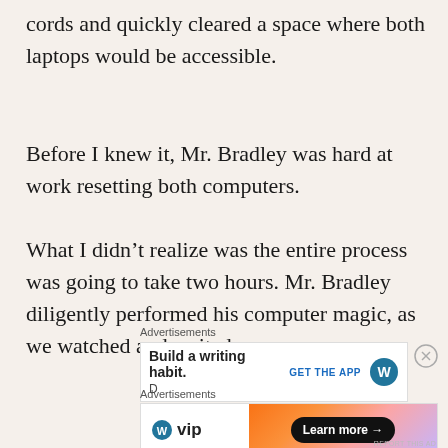cords and quickly cleared a space where both laptops would be accessible.
Before I knew it, Mr. Bradley was hard at work resetting both computers.
What I didn’t realize was the entire process was going to take two hours. Mr. Bradley diligently performed his computer magic, as we watched and waited.
[Figure (screenshot): Advertisement banner: 'Build a writing habit.' with GET THE APP button and WordPress icon, and a close button]
[Figure (screenshot): Advertisement banner: WordPress VIP logo with gradient background and 'Learn more →' button]